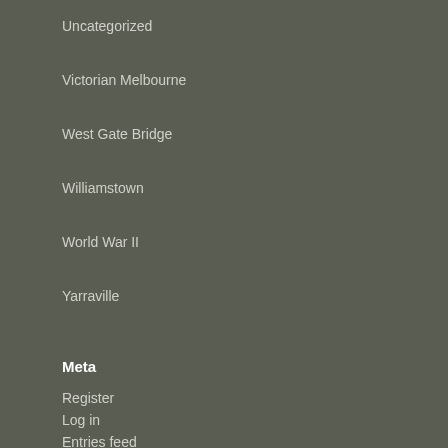Uncategorized
Victorian Melbourne
West Gate Bridge
Williamstown
World War II
Yarraville
Meta
Register
Log in
Entries feed
Comments feed